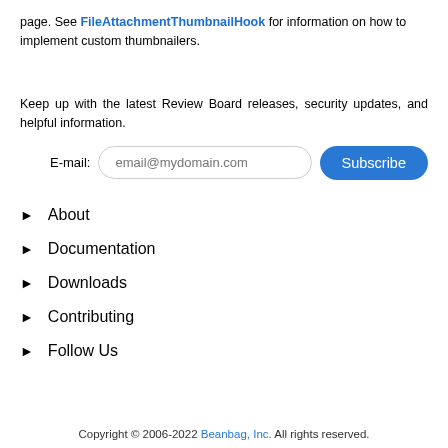page. See FileAttachmentThumbnailHook for information on how to implement custom thumbnailers.
Keep up with the latest Review Board releases, security updates, and helpful information.
► About
► Documentation
► Downloads
► Contributing
► Follow Us
Copyright © 2006-2022 Beanbag, Inc. All rights reserved.